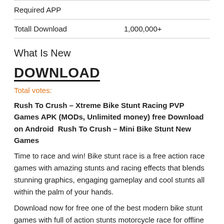| Required APP |  |
| --- | --- |
| Totall Download | 1,000,000+ |
What Is New
DOWNLOAD
Total votes:
Rush To Crush – Xtreme Bike Stunt Racing PVP Games APK (MODs, Unlimited money) free Download on Android  Rush To Crush – Mini Bike Stunt New Games
Time to race and win! Bike stunt race is a free action race games with amazing stunts and racing effects that blends stunning graphics, engaging gameplay and cool stunts all within the palm of your hands.
Download now for free one of the best modern bike stunt games with full of action stunts motorcycle race for offline bike riders.
In mini bike race join millions of players who want to race against time